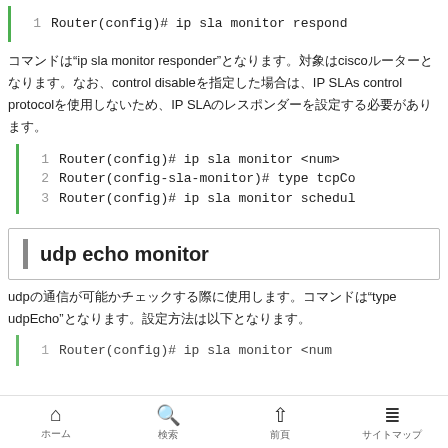[Figure (screenshot): Code block showing: 1 | Router(config)# ip sla monitor respond]
コマンドは"ip sla monitor responder"となります。対象はciscoルーターとなります。なお、control disableを指定した場合は、IP SLAs control protocolを使用しないため、IP SLAのレスポンダーを設定する必要があります。
[Figure (screenshot): Code block with 3 lines: 1 | Router(config)# ip sla monitor <num>, 2 | Router(config-sla-monitor)# type tcpCo, 3 | Router(config)# ip sla monitor schedul]
udp echo monitor
udpの通信が可能かチェックする際に使用します。コマンドは"type udpEcho"となります。設定方法は以下となります。
[Figure (screenshot): Code block starting: 1 | Router(config)# ip sla monitor <num]
ホーム　検索　前頁　サイトマップ